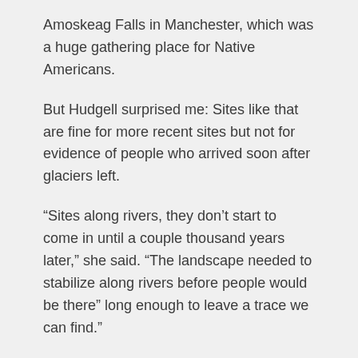Amoskeag Falls in Manchester, which was a huge gathering place for Native Americans.
But Hudgell surprised me: Sites like that are fine for more recent sites but not for evidence of people who arrived soon after glaciers left.
“Sites along rivers, they don’t start to come in until a couple thousand years later,” she said. “The landscape needed to stabilize along rivers before people would be there” long enough to leave a trace we can find.”
Which leads to another question: what is left to trace? Organic material like cloth, wood tools, tent poles and fishing gear is long gone, and so are human remains. Our soil is